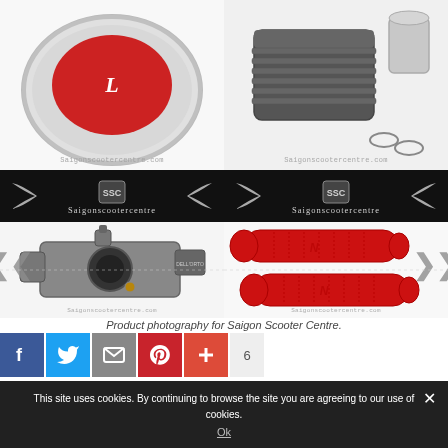[Figure (photo): Top-left: Chrome cap with red Lambretta logo. Top-right: Engine cylinder kit with piston and clips. Both watermarked with saigonscootercentre.com]
[Figure (photo): Black banner with Saigon Scooter Centre logo and stylized wings, repeated twice side by side]
[Figure (photo): Bottom-left: Carburetor/throttle body part with hose fitting. Bottom-right: Pair of red rubber handlebar grips. Both watermarked with saigonscootercentre.com. Navigation arrows visible on sides.]
Product photography for Saigon Scooter Centre.
6
This site uses cookies. By continuing to browse the site you are agreeing to our use of cookies.
Ok